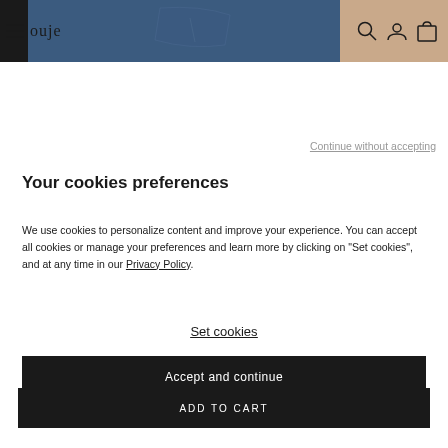[Figure (screenshot): Website header with navigation bar showing hamburger menu, logo text 'ouje', search icon, account icon, and cart icon over a fashion photo strip with denim jeans and beige background]
Continue without accepting
Your cookies preferences
We use cookies to personalize content and improve your experience. You can accept all cookies or manage your preferences and learn more by clicking on "Set cookies", and at any time in our Privacy Policy.
Set cookies
Accept and continue
ADD TO CART